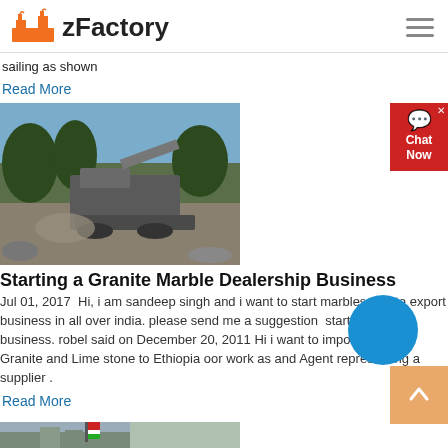zFactory
sailing as shown
Read More
[Figure (photo): Granite marble crushing/processing machine at a quarry site outdoors]
Starting a Granite Marble Dealership Business
Jul 01, 2017  Hi, i am sandeep singh and i want to start marbles  te export business in all over india. please send me a suggestion  starting the business. robel said on December 20, 2011 Hi i want to import marble, Granite and Lime stone to Ethiopia oor work as and Agent representing a supplier .
Read More
[Figure (photo): Bottom portion of another article image showing a building/factory]